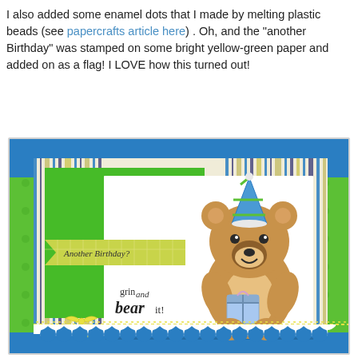I also added some enamel dots that I made by melting plastic beads (see papercrafts article here) . Oh, and the "another Birthday" was stamped on some bright yellow-green paper and added on as a flag! I LOVE how this turned out!
[Figure (photo): A handmade birthday card featuring a cartoon bear wearing a party hat and holding a gift box. The card has blue, green, and yellow-green color scheme with striped patterned paper background, green solid panels, a yellow-green chevron flag banner reading 'Another Birthday?', and script text 'grin and bear it!' The card is tied with a yellow twine bow and has a white scalloped border at the bottom. The card is photographed on a bright green polka-dot background.]